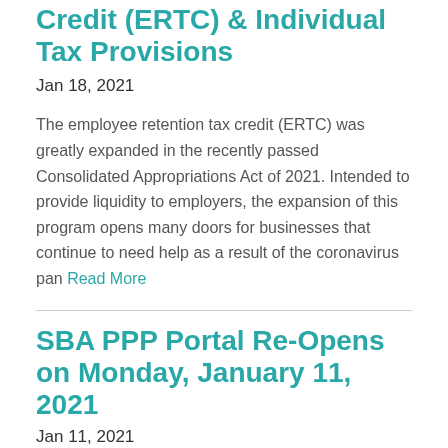Credit (ERTC) & Individual Tax Provisions
Jan 18, 2021
The employee retention tax credit (ERTC) was greatly expanded in the recently passed Consolidated Appropriations Act of 2021. Intended to provide liquidity to employers, the expansion of this program opens many doors for businesses that continue to need help as a result of the coronavirus pan Read More
SBA PPP Portal Re-Opens on Monday, January 11, 2021
Jan 11, 2021